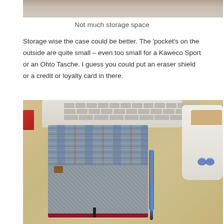[Figure (photo): Partial photo of a notebook/pen case, cropped at top]
Not much storage space
Storage wise the case could be better. The ‘pocket’s on the outside are quite small – even too small for a Kaweco Sport or an Ohto Tasche. I guess you could put an eraser shield or a credit or loyalty card in there.
[Figure (photo): Overhead desk photo showing a tweed/Harris Tweed notebook cover with plaid pattern on top and herringbone on bottom, a leather clasp, a blue fountain pen, a white mug with tea, and part of a keyboard in the background on a wooden desk surface.]